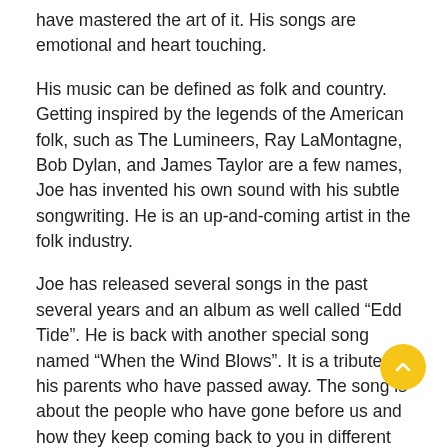have mastered the art of it. His songs are emotional and heart touching.
His music can be defined as folk and country. Getting inspired by the legends of the American folk, such as The Lumineers, Ray LaMontagne, Bob Dylan, and James Taylor are a few names, Joe has invented his own sound with his subtle songwriting. He is an up-and-coming artist in the folk industry.
Joe has released several songs in the past several years and an album as well called “Edd Tide”. He is back with another special song named “When the Wind Blows”. It is a tribute to his parents who have passed away. The song is about the people who have gone before us and how they keep coming back to you in different phases of your life. The song also features ‘Lucia’ who contributes vocals.
Talking about the song in detail, the song is a true piece of folk music. It starts with a beautiful acoustic guitar, keys, and some